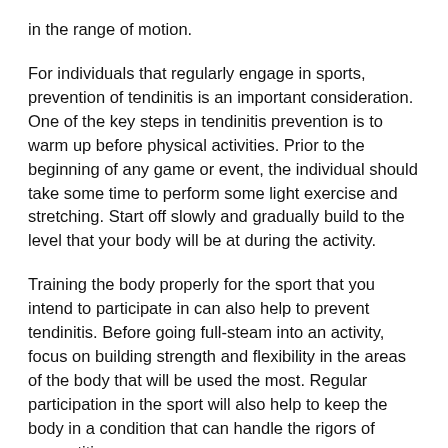in the range of motion.
For individuals that regularly engage in sports, prevention of tendinitis is an important consideration. One of the key steps in tendinitis prevention is to warm up before physical activities. Prior to the beginning of any game or event, the individual should take some time to perform some light exercise and stretching. Start off slowly and gradually build to the level that your body will be at during the activity.
Training the body properly for the sport that you intend to participate in can also help to prevent tendinitis. Before going full-steam into an activity, focus on building strength and flexibility in the areas of the body that will be used the most. Regular participation in the sport will also help to keep the body in a condition that can handle the rigors of competition.
Sprains
Sprains are another type of injury that are common amongst athletes. This is a type of injury that impacts the ligaments. The ligaments are the tough bands of connective tissue that connect the bones together at the joints. When the ligaments become